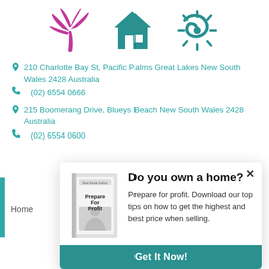[Figure (illustration): Three icons: a pink/magenta palm tree, a teal house, and a teal sun/spiral symbol]
210 Charlotte Bay St, Pacific Palms Great Lakes New South Wales 2428 Australia
(02) 6554 0666
215 Boomerang Drive, Blueys Beach New South Wales 2428 Australia
(02) 6554 0600
[Figure (screenshot): Modal popup with book image 'Prepare For Profit', heading 'Do you own a home?', description text, and teal 'Get It Now!' button]